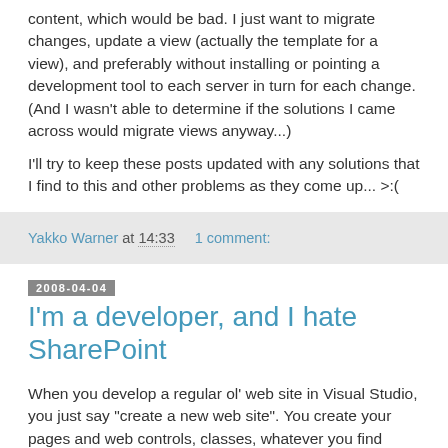content, which would be bad. I just want to migrate changes, update a view (actually the template for a view), and preferably without installing or pointing a development tool to each server in turn for each change. (And I wasn't able to determine if the solutions I came across would migrate views anyway...)
I'll try to keep these posts updated with any solutions that I find to this and other problems as they come up... >:(
Yakko Warner at 14:33    1 comment:
2008-04-04
I'm a developer, and I hate SharePoint
When you develop a regular ol' web site in Visual Studio, you just say "create a new web site". You create your pages and web controls, classes, whatever you find necessary. To debug it, you set your breakpoints anywhere you want and hit F5. Studio these days even launches its own built-in web